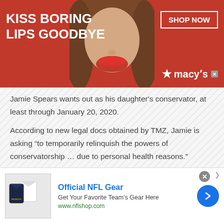[Figure (photo): Macy's advertisement banner with red background, woman's face with red lips, text 'KISS BORING LIPS GOODBYE', 'SHOP NOW' button, and Macy's star logo]
Jamie Spears wants out as his daughter's conservator, at least through January 20, 2020.
According to new legal docs obtained by TMZ, Jamie is asking “to temporarily relinquish the powers of conservatorship … due to personal health reasons.”
Jamie wants a temporary conservator … Jodi Montgomery, whom he describes as Britney’s care manager over the last year … who he says has the
[Figure (photo): Official NFL Gear advertisement showing NFL jerseys/shirts with 'Get Your Favorite Team's Gear Here' and 'www.nflshop.com']